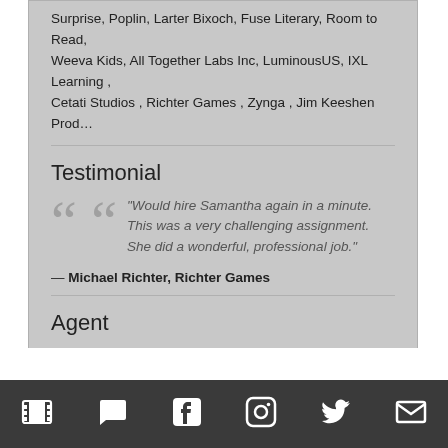Surprise, Poplin, Larter Bixoch, Fuse Literary, Room to Read, Weeva Kids, All Together Labs Inc, LuminousUS, IXL Learning , Cetati Studios , Richter Games , Zynga , Jim Keeshen Prod…
Testimonial
"Would hire Samantha again in a minute. This was a very challenging assignment. She did a wonderful, professional job."
— Michael Richter, Richter Games
Agent
Emily Keyes
Territory: Books
keyesagency.com
emily@emilyskeyes.com